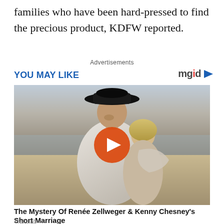families who have been hard-pressed to find the precious product, KDFW reported.
Advertisements
YOU MAY LIKE
[Figure (photo): A man wearing a black cowboy hat embracing a blonde woman on a beach, with a video play button overlay in the center.]
The Mystery Of Renée Zellweger & Kenny Chesney's Short Marriage
Traitslab